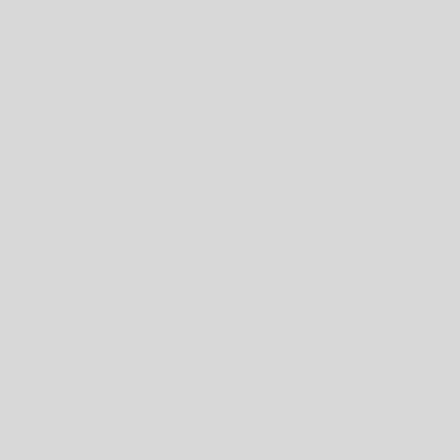to Cyberculture: Stewart Brand, the Whole Earth Network, and the Rise of Digital
[Figure (photo): Book cover of 'Architects of Intelligence' by Martin Ford. Blue cover with large white letter A shape and a grid of faces in the background.]
SQL for Data